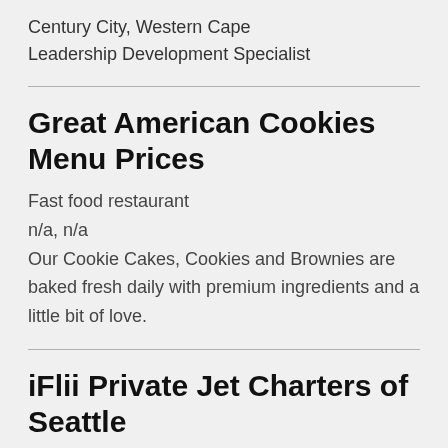Century City, Western Cape
Leadership Development Specialist
Great American Cookies Menu Prices
Fast food restaurant
n/a, n/a
Our Cookie Cakes, Cookies and Brownies are baked fresh daily with premium ingredients and a little bit of love.
iFlii Private Jet Charters of Seattle